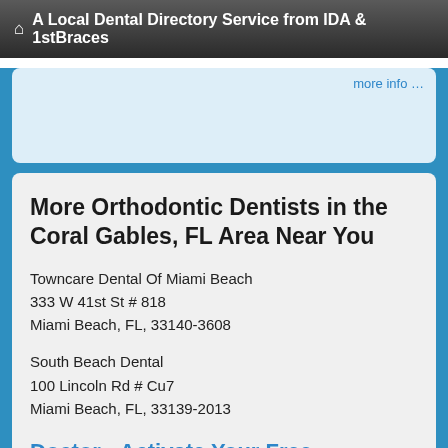A Local Dental Directory Service from IDA & 1stBraces
more info...
More Orthodontic Dentists in the Coral Gables, FL Area Near You
Towncare Dental Of Miami Beach
333 W 41st St # 818
Miami Beach, FL, 33140-3608
South Beach Dental
100 Lincoln Rd # Cu7
Miami Beach, FL, 33139-2013
Doctor - Activate Your Free 1stBraces Directory Listing
Goodman, Richard B D.D.S.